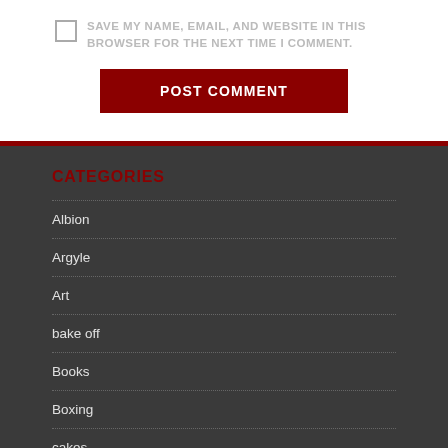SAVE MY NAME, EMAIL, AND WEBSITE IN THIS BROWSER FOR THE NEXT TIME I COMMENT.
POST COMMENT
CATEGORIES
Albion
Argyle
Art
bake off
Books
Boxing
cakes